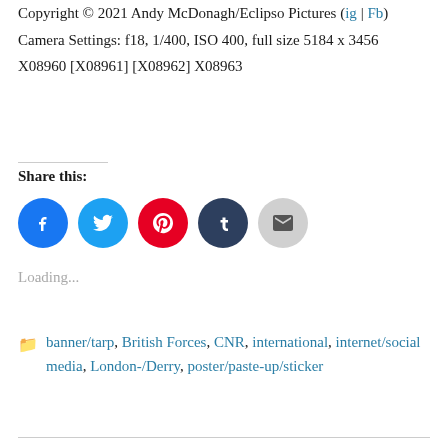Click and click again to enlarge (to 1200 x 800) Copyright © 2021 Andy McDonagh/Eclipso Pictures (ig | Fb)
Camera Settings: f18, 1/400, ISO 400, full size 5184 x 3456
X08960 [X08961] [X08962] X08963
Share this:
[Figure (other): Social share buttons: Facebook (blue circle), Twitter (light blue circle), Pinterest (red circle), Tumblr (dark navy circle), Email (gray circle)]
Loading...
banner/tarp, British Forces, CNR, international, internet/social media, London-/Derry, poster/paste-up/sticker